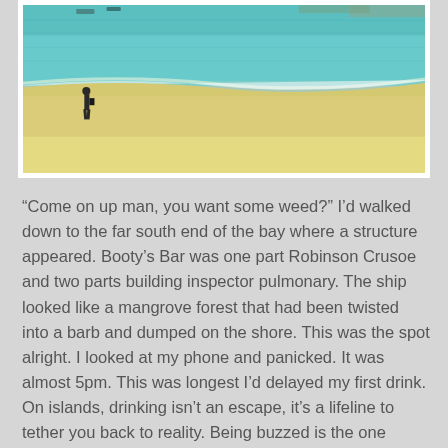[Figure (photo): A beach scene with turquoise water and sandy shore. A lone person walks along the waterline at the far south end of a bay. Boats are visible in the distant background.]
“Come on up man, you want some weed?” I’d walked down to the far south end of the bay where a structure appeared. Booty’s Bar was one part Robinson Crusoe and two parts building inspector pulmonary. The ship looked like a mangrove forest that had been twisted into a barb and dumped on the shore. This was the spot alright. I looked at my phone and panicked. It was almost 5pm. This was longest I’d delayed my first drink. On islands, drinking isn’t an escape, it’s a lifeline to tether you back to reality. Being buzzed is the one feeling that stays the same. It is the